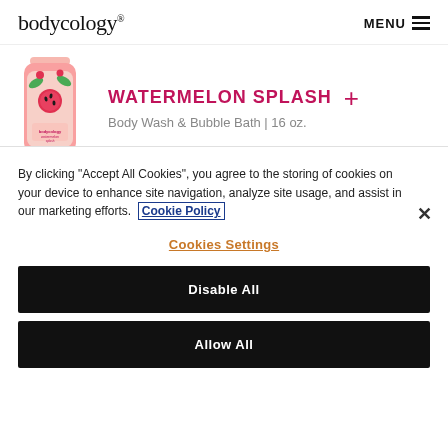bodycology® | MENU
[Figure (photo): Bodycology Watermelon Splash body wash bottle with pink label, watermelon and floral designs]
WATERMELON SPLASH
Body Wash & Bubble Bath | 16 oz.
[Figure (photo): Partial view of another product, showing two brown rectangular shapes at the bottom of the product strip]
By clicking "Accept All Cookies", you agree to the storing of cookies on your device to enhance site navigation, analyze site usage, and assist in our marketing efforts. Cookie Policy
Cookies Settings
Disable All
Allow All